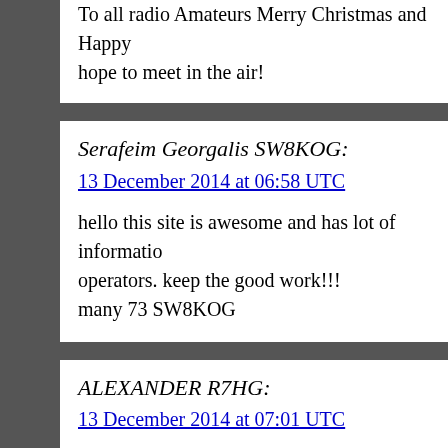To all radio Amateurs Merry Christmas and Happy hope to meet in the air!
Serafeim Georgalis SW8KOG: 13 December 2014 at 06:58 UTC
hello this site is awesome and has lot of information operators. keep the good work!!! many 73 SW8KOG
ALEXANDER R7HG: 13 December 2014 at 07:01 UTC
Friends! Happy New Year to all and merry Christmas luck in all things and a lot of DX!